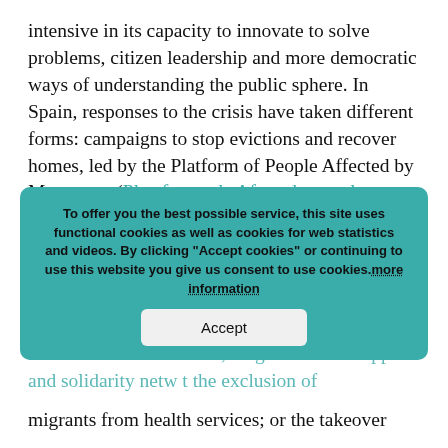intensive in its capacity to innovate to solve problems, citizen leadership and more democratic ways of understanding the public sphere. In Spain, responses to the crisis have taken different forms: campaigns to stop evictions and recover homes, led by the Platform of People Affected by Mortgages (Plataforma de Afectados por las Hipotecas, PAH); citizen tides in defence of public services such as health and education, bringing together users, professionals and trade unions; the restoration of buildings to set up community centres; mobilisation to assist the most vulnerable families; neighbourhood support and solidarity networks against the exclusion of migrants from health services; or the takeover of...
To offer you the best possible service, this site uses functional cookies as well as cookies for web statistics and videos. By clicking "Accept cookies" or continuing to use this website you give us consent to use cookies. more information